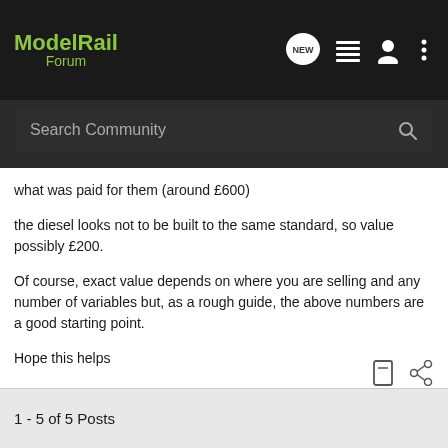[Figure (screenshot): ModelRail Forum navigation bar with logo, NEW chat bubble icon, list icon, profile icon, and three-dot menu icon]
Search Community
what was paid for them (around £600)
the diesel looks not to be built to the same standard, so value possibly £200.
Of course, exact value depends on where you are selling and any number of variables but, as a rough guide, the above numbers are a good starting point.
Hope this helps
1 - 5 of 5 Posts